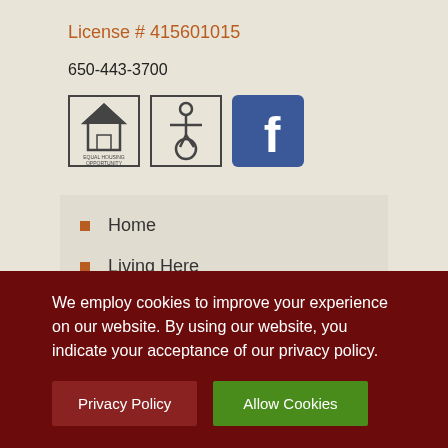License # 415601015
650-443-3700
[Figure (illustration): Three icons in a row: Equal Housing Opportunity logo, Accessibility/wheelchair logo, and Facebook logo]
Home
Living Here
Who We Are
News and Events
We employ cookies to improve your experience on our website. By using our website, you indicate your acceptance of our privacy policy.
Privacy Policy
Allow Cookies